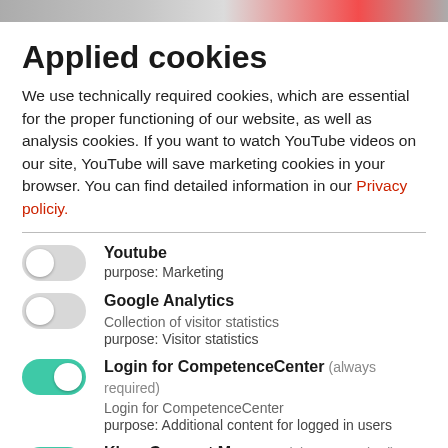[Figure (photo): Top banner image strip showing partial website header]
Applied cookies
We use technically required cookies, which are essential for the proper functioning of our website, as well as analysis cookies. If you want to watch YouTube videos on our site, YouTube will save marketing cookies in your browser. You can find detailed information in our Privacy policiy.
Youtube
purpose: Marketing
Google Analytics
Collection of visitor statistics
purpose: Visitor statistics
Login for CompetenceCenter (always required)
Login for CompetenceCenter
purpose: Additional content for logged in users
Klaro Consent Manager (always required)